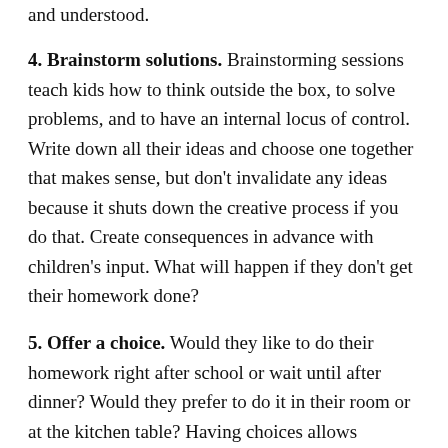and understood.
4. Brainstorm solutions. Brainstorming sessions teach kids how to think outside the box, to solve problems, and to have an internal locus of control. Write down all their ideas and choose one together that makes sense, but don't invalidate any ideas because it shuts down the creative process if you do that. Create consequences in advance with children's input. What will happen if they don't get their homework done?
5. Offer a choice. Would they like to do their homework right after school or wait until after dinner? Would they prefer to do it in their room or at the kitchen table? Having choices allows children to conclude they have agency and that they're not powerless.
Make them. Letting a school go off, then the